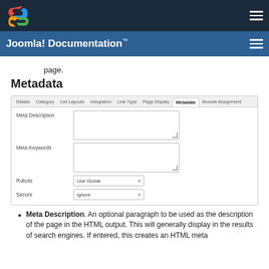[Figure (logo): Joomla logo in top navigation bar]
Joomla! Documentation™
page.
Metadata
[Figure (screenshot): Joomla admin panel screenshot showing Metadata tab with fields: Meta Description (textarea), Meta Keywords (textarea), Robots (dropdown: Use Global), Secure (dropdown: Ignore). Tabs visible: Details, Category, List Layouts, Integration, Link Type, Page Display, Metadata (active), Module Assignment.]
Meta Description. An optional paragraph to be used as the description of the page in the HTML output. This will generally display in the results of search engines. If entered, this creates an HTML meta